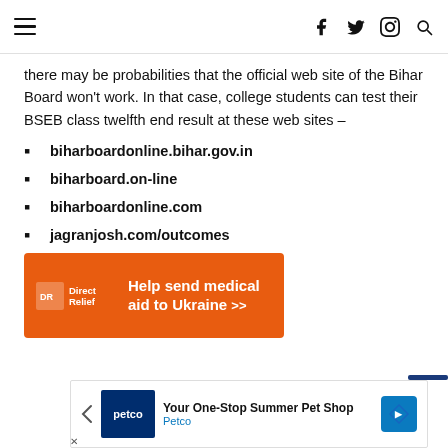≡  f  𝕏  ⊙  🔍
there may be probabilities that the official web site of the Bihar Board won't work. In that case, college students can test their BSEB class twelfth end result at these web sites –
biharboardonline.bihar.gov.in
biharboard.on-line
biharboardonline.com
jagranjosh.com/outcomes
[Figure (infographic): Orange banner ad for Direct Relief: 'Help send medical aid to Ukraine >>']
[Figure (infographic): Petco ad banner: 'Your One-Stop Summer Pet Shop' with Petco logo and blue diamond badge]